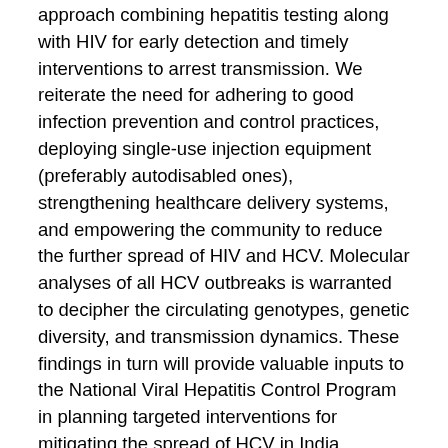approach combining hepatitis testing along with HIV for early detection and timely interventions to arrest transmission. We reiterate the need for adhering to good infection prevention and control practices, deploying single-use injection equipment (preferably autodisabled ones), strengthening healthcare delivery systems, and empowering the community to reduce the further spread of HIV and HCV. Molecular analyses of all HCV outbreaks is warranted to decipher the circulating genotypes, genetic diversity, and transmission dynamics. These findings in turn will provide valuable inputs to the National Viral Hepatitis Control Program in planning targeted interventions for mitigating the spread of HCV in India.
Top
Dr. Arati Mane is a scientist with the Division of Microbiology at the Indian Council of Medical